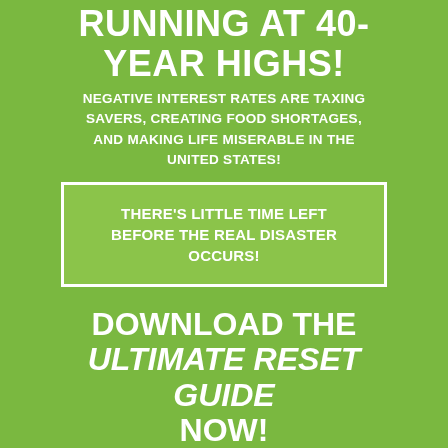RUNNING AT 40-YEAR HIGHS!
NEGATIVE INTEREST RATES ARE TAXING SAVERS, CREATING FOOD SHORTAGES, AND MAKING LIFE MISERABLE IN THE UNITED STATES!
THERE'S LITTLE TIME LEFT BEFORE THE REAL DISASTER OCCURS!
DOWNLOAD THE ULTIMATE RESET GUIDE NOW!